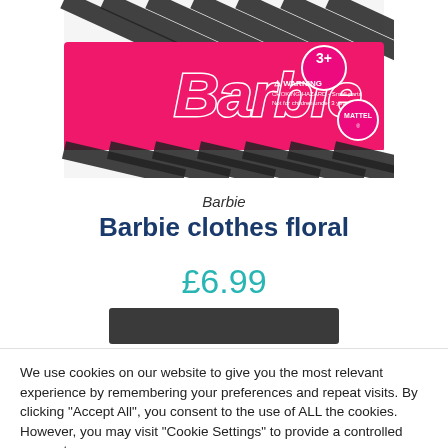[Figure (photo): Barbie branded product packaging box with pink label showing Barbie logo, 3+ age rating, choking hazard warning, and Mattel logo. Black and white zebra-print pattern on box sides.]
Barbie
Barbie clothes floral
£6.99
We use cookies on our website to give you the most relevant experience by remembering your preferences and repeat visits. By clicking "Accept All", you consent to the use of ALL the cookies. However, you may visit "Cookie Settings" to provide a controlled consent.